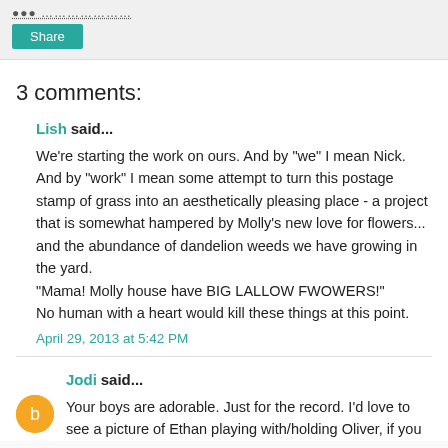3 comments:
Lish said...
We're starting the work on ours. And by "we" I mean Nick. And by "work" I mean some attempt to turn this postage stamp of grass into an aesthetically pleasing place - a project that is somewhat hampered by Molly's new love for flowers... and the abundance of dandelion weeds we have growing in the yard.
"Mama! Molly house have BIG LALLOW FWOWERS!"
No human with a heart would kill these things at this point.
April 29, 2013 at 5:42 PM
Jodi said...
Your boys are adorable. Just for the record. I'd love to see a picture of Ethan playing with/holding Oliver, if you